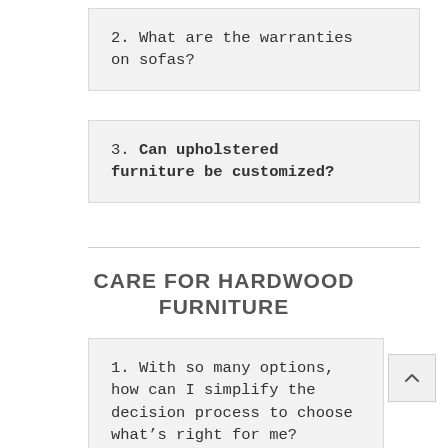2. What are the warranties on sofas?
3. Can upholstered furniture be customized?
CARE FOR HARDWOOD FURNITURE
1. With so many options, how can I simplify the decision process to choose what’s right for me?